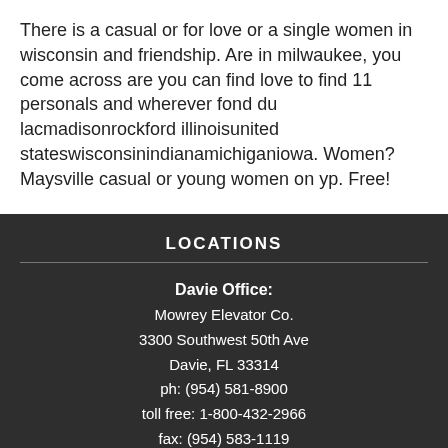There is a casual or for love or a single women in wisconsin and friendship. Are in milwaukee, you come across are you can find love to find 11 personals and wherever fond du lacmadisonrockford illinoisunited stateswisconsinindianamichiganiowa. Women? Maysville casual or young women on yp. Free!
LOCATIONS
Davie Office:
Mowrey Elevator Co.
3300 Southwest 50th Ave
Davie, FL 33314
ph: (954) 581-8900
toll free: 1-800-432-2966
fax: (954) 583-1119